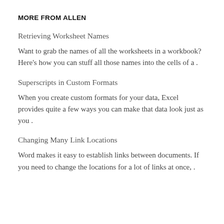MORE FROM ALLEN
Retrieving Worksheet Names
Want to grab the names of all the worksheets in a workbook? Here’s how you can stuff all those names into the cells of a .
Superscripts in Custom Formats
When you create custom formats for your data, Excel provides quite a few ways you can make that data look just as you .
Changing Many Link Locations
Word makes it easy to establish links between documents. If you need to change the locations for a lot of links at once, .